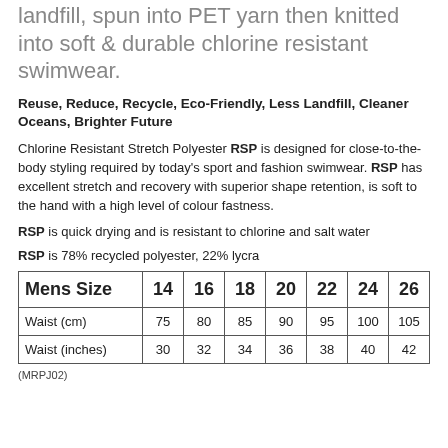landfill, spun into PET yarn then knitted into soft & durable chlorine resistant swimwear.
Reuse, Reduce, Recycle, Eco-Friendly, Less Landfill, Cleaner Oceans, Brighter Future
Chlorine Resistant Stretch Polyester RSP is designed for close-to-the-body styling required by today's sport and fashion swimwear. RSP has excellent stretch and recovery with superior shape retention, is soft to the hand with a high level of colour fastness.
RSP is quick drying and is resistant to chlorine and salt water
RSP is 78% recycled polyester, 22% lycra
| Mens Size | 14 | 16 | 18 | 20 | 22 | 24 | 26 |
| --- | --- | --- | --- | --- | --- | --- | --- |
| Waist (cm) | 75 | 80 | 85 | 90 | 95 | 100 | 105 |
| Waist (inches) | 30 | 32 | 34 | 36 | 38 | 40 | 42 |
(MRPJ02)